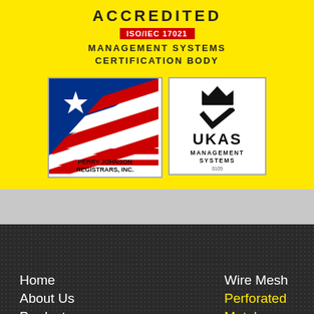[Figure (logo): Yellow accreditation banner with ACCREDITED text, ISO/IEC 17021 red badge, MANAGEMENT SYSTEMS CERTIFICATION BODY text, Perry Johnson Registrars Inc. logo (US flag style with star and stripes), and UKAS Management Systems logo with crown and checkmark, number 0105]
Home
About Us
Products
Fabrication
Services
Resources
Wire Mesh
Perforated Metal
Expanded Metal
Bar Grating
Safety Grating